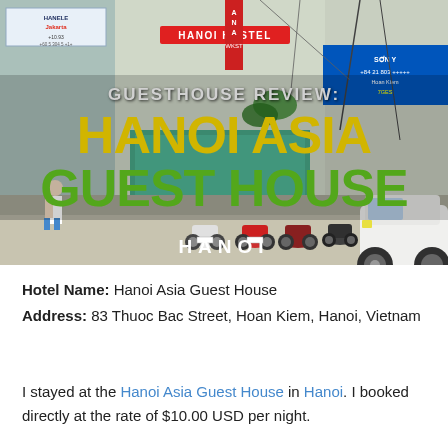[Figure (photo): Street-level photo of Hanoi Asia Guest House storefront in Hanoi, Vietnam. Multiple motorcycles parked in front, a white car on the right, busy street scene. Overlaid text reads 'GUESTHOUSE REVIEW: HANOI ASIA GUEST HOUSE' and 'HANOI' at the bottom.]
Hotel Name: Hanoi Asia Guest House
Address: 83 Thuoc Bac Street, Hoan Kiem, Hanoi, Vietnam
I stayed at the Hanoi Asia Guest House in Hanoi. I booked directly at the rate of $10.00 USD per night.